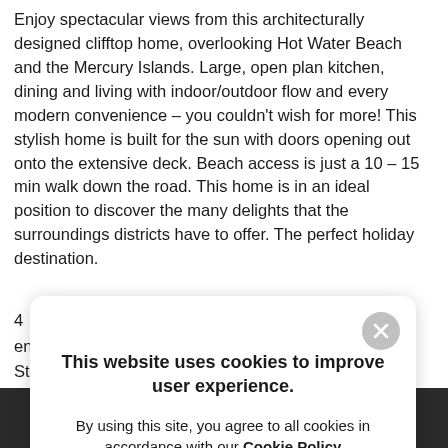Enjoy spectacular views from this architecturally designed clifftop home, overlooking Hot Water Beach and the Mercury Islands. Large, open plan kitchen, dining and living with indoor/outdoor flow and every modern convenience – you couldn't wish for more! This stylish home is built for the sun with doors opening out onto the extensive deck. Beach access is just a 10 – 15 min walk down the road. This home is in an ideal position to discover the many delights that the surroundings districts have to offer. The perfect holiday destination.
4 [partial]
en [partial]
St [partial]
Fr [partial]
Pl [partial]
[Figure (screenshot): Cookie consent modal popup overlay on a real estate listing page. The modal has a white rounded rectangle with a grey close button (X) in the top right. Bold text reads: 'This website uses cookies to improve user experience.' Below that: 'By using this site, you agree to all cookies in accordance with our Cookie Policy' where 'Cookie Policy' is bold.]